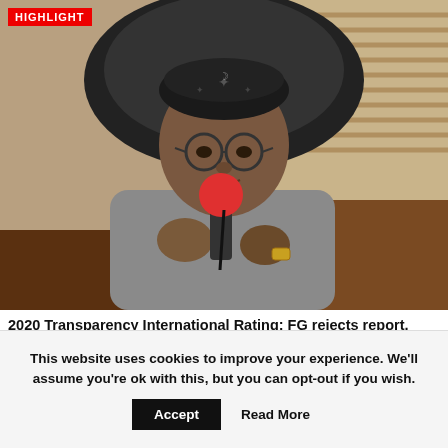HIGHLIGHT
[Figure (photo): A man wearing a traditional embroidered cap and round glasses, dressed in a grey suit, speaking into a red microphone. He is seated in a black leather chair in an office setting with wooden furniture and blinds in the background.]
2020 Transparency International Rating: FG rejects report, says not...
The Federal Government has reacted to Nigeria's low rating in the 2020 Transparency International...
[Figure (photo): Partial colored strip image — bottom of another article thumbnail]
This website uses cookies to improve your experience. We'll assume you're ok with this, but you can opt-out if you wish.